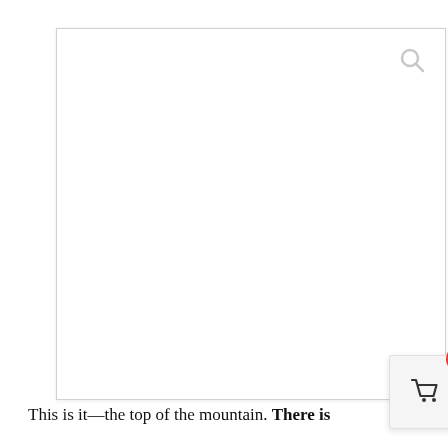[Figure (screenshot): A screenshot of a white webpage area with a light gray search icon (magnifying glass) in the upper right corner, and a shopping cart widget in the lower right corner showing a cart icon with a red badge displaying the number 2.]
This is it—the top of the mountain. There is